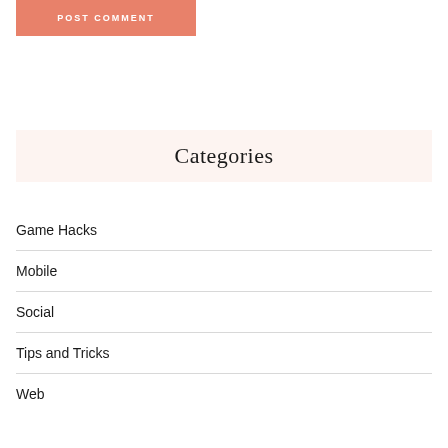POST COMMENT
Categories
Game Hacks
Mobile
Social
Tips and Tricks
Web